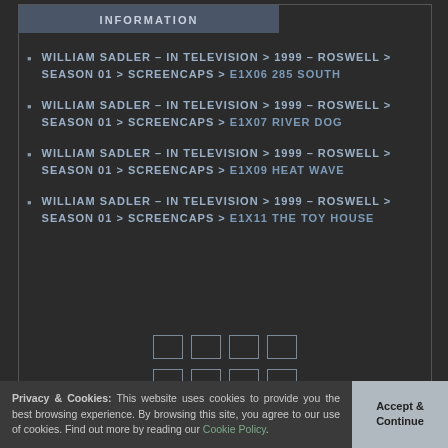INFORMATION
WILLIAM SADLER – IN TELEVISION > 1999 – ROSWELL > SEASON 01 > SCREENCAPS > E1X06 285 SOUTH
WILLIAM SADLER – IN TELEVISION > 1999 – ROSWELL > SEASON 01 > SCREENCAPS > E1X07 RIVER DOG
WILLIAM SADLER – IN TELEVISION > 1999 – ROSWELL > SEASON 01 > SCREENCAPS > E1X09 HEAT WAVE
WILLIAM SADLER – IN TELEVISION > 1999 – ROSWELL > SEASON 01 > SCREENCAPS > E1X11 THE TOY HOUSE
[Figure (other): Grid of thumbnail placeholder boxes arranged in 4 rows of 4 boxes each]
Privacy & Cookies: This website uses cookies to provide you the best browsing experience. By browsing this site, you agree to our use of cookies. Find out more by reading our Cookie Policy.